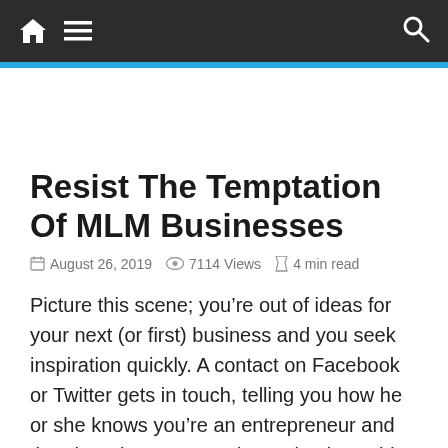Navigation bar with home icon, menu icon, and search icon
Resist The Temptation Of MLM Businesses
August 26, 2019   7114 Views   4 min read
Picture this scene; you’re out of ideas for your next (or first) business and you seek inspiration quickly. A contact on Facebook or Twitter gets in touch, telling you how he or she knows you’re an entrepreneur and that there is a great and easy business idea you might be interested in. Your